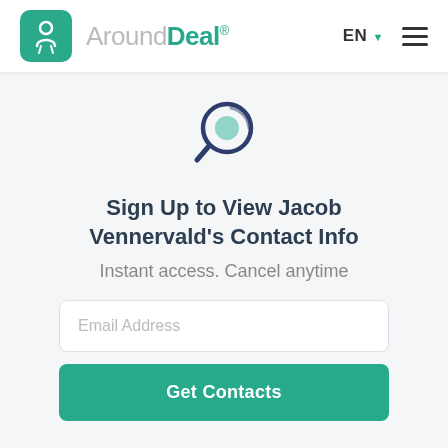AroundDeal® EN ☰
[Figure (illustration): Magnifying glass icon with teal inner circle and dark navy outer ring, used as a search/contact lookup visual]
Sign Up to View Jacob Vennervald's Contact Info
Instant access. Cancel anytime
Email Address
Get Contacts